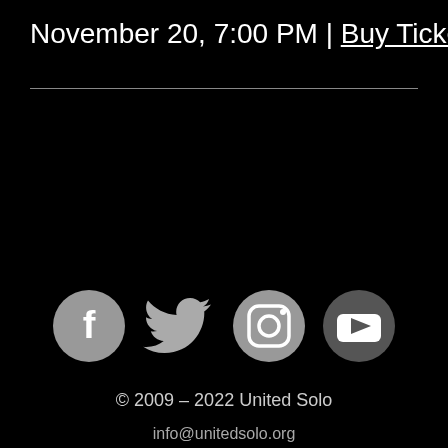November 20, 7:00 PM | Buy Tickets
[Figure (illustration): Four social media icons in a row: Facebook (gray circle with white f), Twitter (gray bird), Instagram (gray circle with camera icon), YouTube (dark circle with white play button)]
© 2009 – 2022 United Solo
info@unitedsolo.org